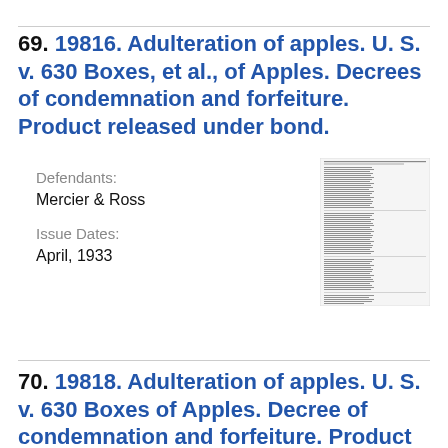69. 19816. Adulteration of apples. U. S. v. 630 Boxes, et al., of Apples. Decrees of condemnation and forfeiture. Product released under bond.
Defendants: Mercier & Ross
Issue Dates: April, 1933
[Figure (other): Thumbnail image of a legal document page with dense text columns]
70. 19818. Adulteration of apples. U. S. v. 630 Boxes of Apples. Decree of condemnation and forfeiture. Product released under bond to be washed or dipped.